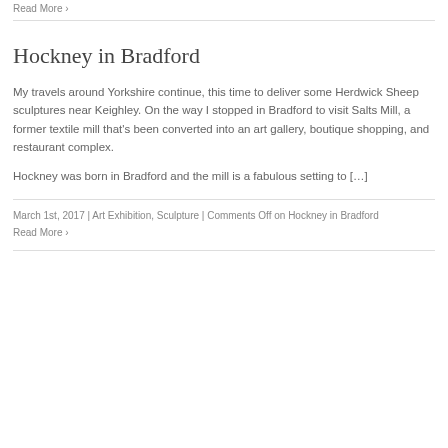Read More ›
Hockney in Bradford
My travels around Yorkshire continue, this time to deliver some Herdwick Sheep sculptures near Keighley. On the way I stopped in Bradford to visit Salts Mill, a former textile mill that's been converted into an art gallery, boutique shopping, and restaurant complex.
Hockney was born in Bradford and the mill is a fabulous setting to […]
March 1st, 2017 | Art Exhibition, Sculpture | Comments Off on Hockney in Bradford
Read More ›